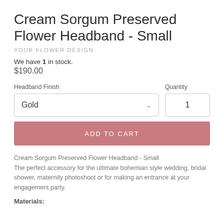Cream Sorgum Preserved Flower Headband - Small
YOUR FLOWER DESIGN
We have 1 in stock.
$190.00
Headband Finish
Gold
Quantity
1
ADD TO CART
Cream Sorgum Preserved Flower Headband - Small
The perfect accessory for the ultimate bohemian style wedding, bridal shower, maternity photoshoot or for making an entrance at your engagement party.
Materials: